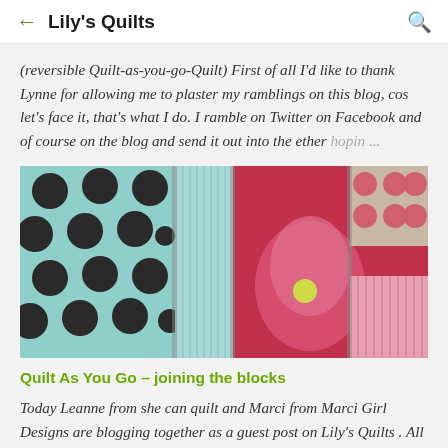← Lily's Quilts 🔍
(reversible Quilt-as-you-go-Quilt) First of all I'd like to thank Lynne for allowing me to plaster my ramblings on this blog, cos let's face it, that's what I do. I ramble on Twitter on Facebook and of course on the blog and send it out into the ether hopin ...
[Figure (photo): Close-up photo of quilt blocks joined together showing teal/aqua fabric with dark polka dots on the left, teal herringbone/chevron pattern in the middle, and magenta/pink fabric with floral and geometric patterns on the right.]
Quilt As You Go – joining the blocks
Today Leanne from she can quilt and Marci from Marci Girl Designs are blogging together as a guest post on Lily's Quilts . All